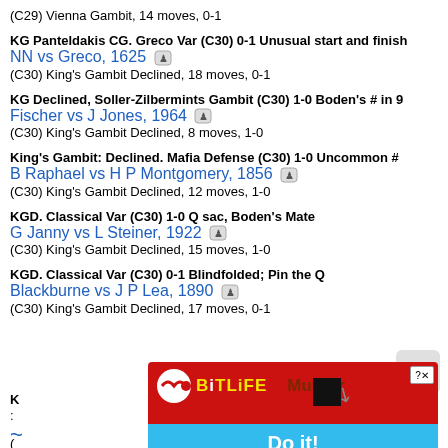(C29) Vienna Gambit, 14 moves, 0-1
KG Panteldakis CG. Greco Var (C30) 0-1 Unusual start and finish
NN vs Greco, 1625
(C30) King's Gambit Declined, 18 moves, 0-1
KG Declined, Soller-Zilbermints Gambit (C30) 1-0 Boden's # in 9
Fischer vs J Jones, 1964
(C30) King's Gambit Declined, 8 moves, 1-0
King's Gambit: Declined. Mafia Defense (C30) 1-0 Uncommon #
B Raphael vs H P Montgomery, 1856
(C30) King's Gambit Declined, 12 moves, 1-0
KGD. Classical Var (C30) 1-0 Q sac, Boden's Mate
G Janny vs L Steiner, 1922
(C30) King's Gambit Declined, 15 moves, 1-0
KGD. Classical Var (C30) 0-1 Blindfolded; Pin the Q
Blackburne vs J P Lea, 1890
(C30) King's Gambit Declined, 17 moves, 0-1
[Figure (screenshot): Advertisement banner for BitLife mobile game showing red background with logo, 'Murder' text, and 'Do it!' blue button]